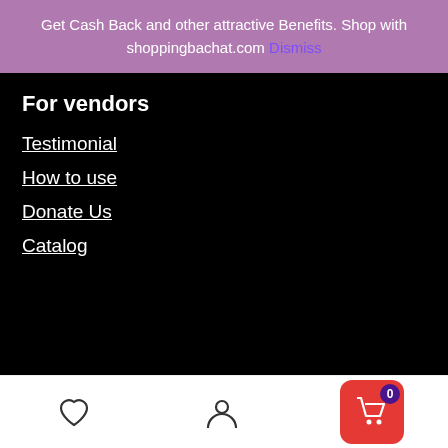Get Cash Back and other attractive Benefits. Shop with shoppingbachat.com Dismiss
For vendors
Testimonial
How to use
Donate Us
Catalog
Search
Search